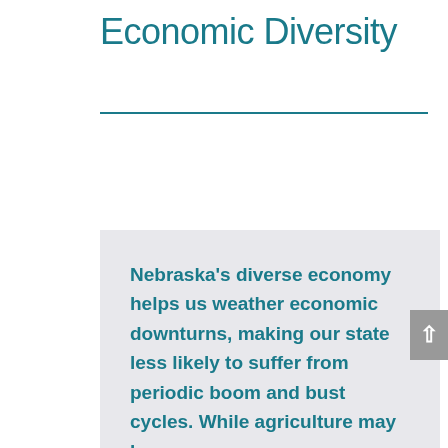Economic Diversity
Nebraska's diverse economy helps us weather economic downturns, making our state less likely to suffer from periodic boom and bust cycles. While agriculture may be our